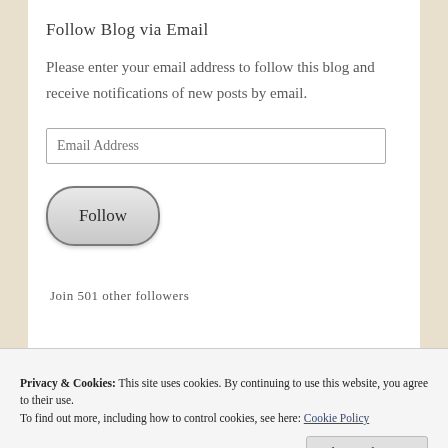Follow Blog via Email
Please enter your email address to follow this blog and receive notifications of new posts by email.
Email Address
Follow
Join 501 other followers
Privacy & Cookies: This site uses cookies. By continuing to use this website, you agree to their use. To find out more, including how to control cookies, see here: Cookie Policy
Close and accept